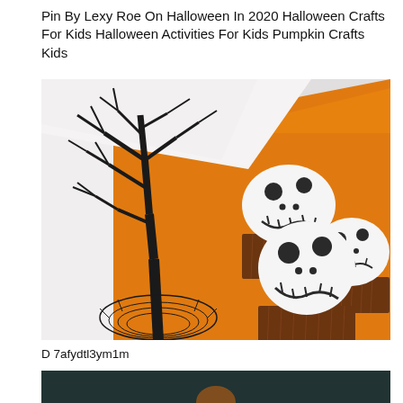Pin By Lexy Roe On Halloween In 2020 Halloween Crafts For Kids Halloween Activities For Kids Pumpkin Crafts Kids
[Figure (photo): Three Halloween cupcakes decorated with white fondant Jack Skellington (Nightmare Before Christmas) faces with black details - eyes, stitched mouth. Arranged on an orange card background alongside a decorative black wire spooky bare tree sculpture on a white surface.]
D 7afydtl3ym1m
[Figure (photo): Partial view of a second Halloween-themed image with a dark teal/dark background, partially cut off at the bottom of the page.]